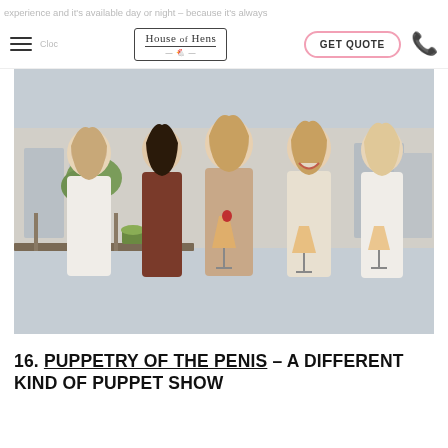experience and it's available day or night – because it's always
House of Hens | GET QUOTE | phone
[Figure (photo): Five women laughing and holding cocktail glasses on a rooftop terrace, celebrating a hen party. City skyline visible in background.]
16. PUPPETRY OF THE PENIS – A DIFFERENT KIND OF PUPPET SHOW